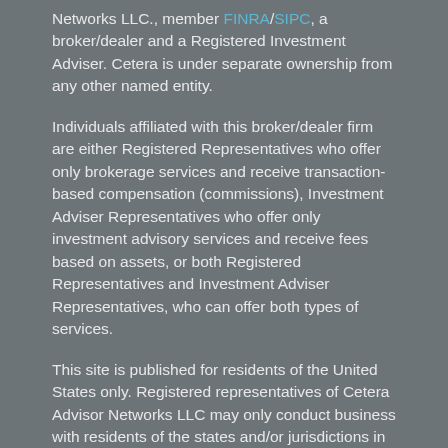Networks LLC., member FINRA/SIPC, a broker/dealer and a Registered Investment Adviser. Cetera is under separate ownership from any other named entity.
Individuals affiliated with this broker/dealer firm are either Registered Representatives who offer only brokerage services and receive transaction-based compensation (commissions), Investment Adviser Representatives who offer only investment advisory services and receive fees based on assets, or both Registered Representatives and Investment Adviser Representatives, who can offer both types of services.
This site is published for residents of the United States only. Registered representatives of Cetera Advisor Networks LLC may only conduct business with residents of the states and/or jurisdictions in which they are properly registered. Not all of the products and services referenced on this site may be available in every state and through every representative listed. For additional information, please contact the representative (s) listed on the site or visit the Cetera Advisor Networks site at www.ceteraadvisornetworks.com